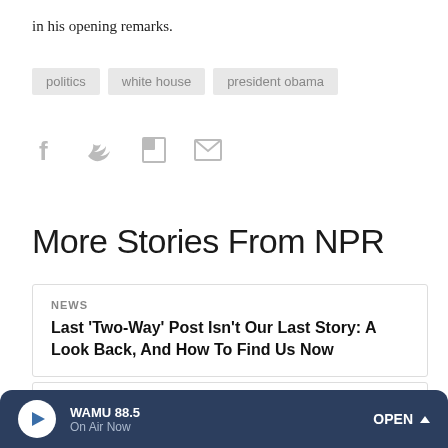in his opening remarks.
politics
white house
president obama
[Figure (other): Social sharing icons: Facebook, Twitter, Flipboard, Email]
More Stories From NPR
NEWS
Last 'Two-Way' Post Isn't Our Last Story: A Look Back, And How To Find Us Now
CULTURE
[Figure (other): Audio player bar: WAMU 88.5, On Air Now, OPEN button]